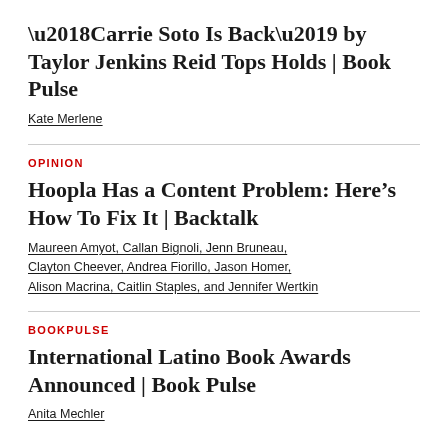'Carrie Soto Is Back' by Taylor Jenkins Reid Tops Holds | Book Pulse
Kate Merlene
OPINION
Hoopla Has a Content Problem: Here’s How To Fix It | Backtalk
Maureen Amyot, Callan Bignoli, Jenn Bruneau, Clayton Cheever, Andrea Fiorillo, Jason Homer, Alison Macrina, Caitlin Staples, and Jennifer Wertkin
BOOKPULSE
International Latino Book Awards Announced | Book Pulse
Anita Mechler